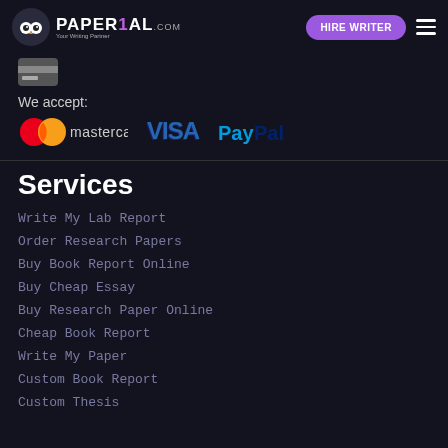PAPER1AL — HIRE WRITER
[Figure (logo): Paprial logo with owl mascot icon and site name]
We accept:
[Figure (logo): Payment logos: Mastercard, VISA, PayPal]
Services
Write My Lab Report
Order Research Papers
Buy Book Report Online
Buy Cheap Essay
Buy Research Paper Online
Cheap Book Report
Write My Paper
Custom Book Report
Custom Thesis